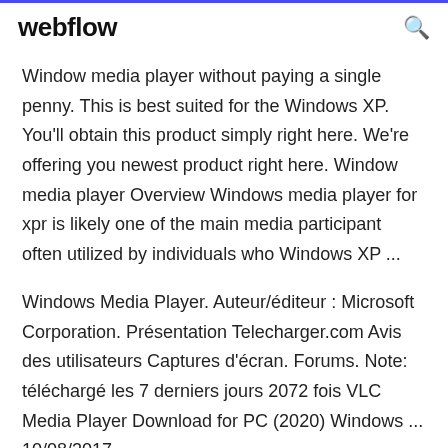webflow
Window media player without paying a single penny. This is best suited for the Windows XP. You'll obtain this product simply right here. We're offering you newest product right here. Window media player Overview Windows media player for xpr is likely one of the main media participant often utilized by individuals who Windows XP ...
Windows Media Player. Auteur/éditeur : Microsoft Corporation. Présentation Telecharger.com Avis des utilisateurs Captures d'écran. Forums. Note: téléchargé les 7 derniers jours 2072 fois VLC Media Player Download for PC (2020) Windows ... 10/08/2017 ·